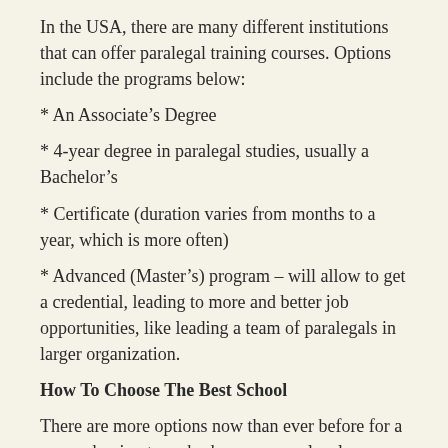In the USA, there are many different institutions that can offer paralegal training courses. Options include the programs below:
* An Associate's Degree
* 4-year degree in paralegal studies, usually a Bachelor’s
* Certificate (duration varies from months to a year, which is more often)
* Advanced (Master’s) program – will allow to get a credential, leading to more and better job opportunities, like leading a team of paralegals in larger organization.
How To Choose The Best School
There are more options now than ever before for a person hoping to embark upon a paralegal career, and the